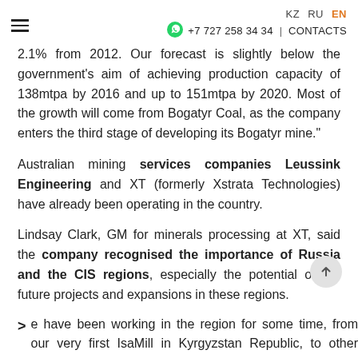KZ  RU  EN  +7 727 258 34 34 | CONTACTS
2.1% from 2012. Our forecast is slightly below the government's aim of achieving production capacity of 138mtpa by 2016 and up to 151mtpa by 2020. Most of the growth will come from Bogatyr Coal, as the company enters the third stage of developing its Bogatyr mine."
Australian mining services companies Leussink Engineering and XT (formerly Xstrata Technologies) have already been operating in the country.
Lindsay Clark, GM for minerals processing at XT, said the company recognised the importance of Russia and the CIS regions, especially the potential of the future projects and expansions in these regions.
e have been working in the region for some time, from our very first IsaMill in Kyrgyzstan Republic, to other recent